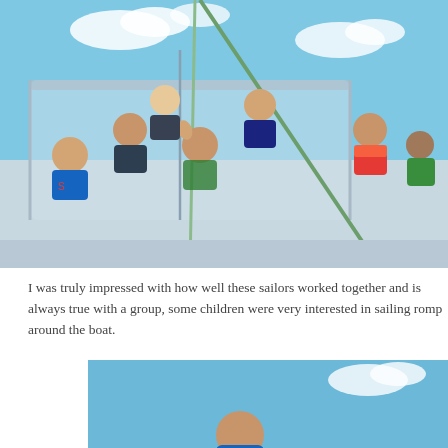[Figure (photo): Group of children and young people sitting on a catamaran sailboat on the water, smiling and making hand gestures. Blue sky with white clouds in background. Children wear swimwear and life jackets.]
I was truly impressed with how well these sailors worked together and is always true with a group, some children were very interested in sailing romp around the boat.
[Figure (photo): Partial photo of a person on a boat against a blue sky background.]